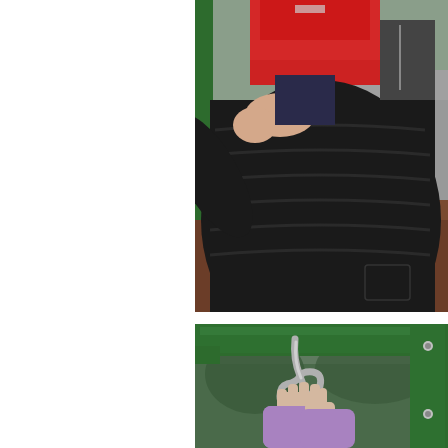[Figure (photo): An adult wearing a black puffy jacket holding a child in a red jacket at a playground. Background shows green playground equipment and wood chip ground cover.]
[Figure (photo): A child's hands in purple sleeves gripping a silver carabiner or hook attached to green metal playground bars. Background shows trees and more playground equipment.]